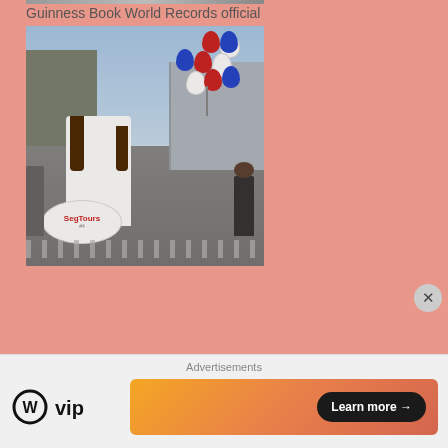Guinness Book World Records official
[Figure (photo): Person wearing helmet riding a Segway Tours vehicle with red, white, and blue balloons in background. Outdoor urban setting with people and metal barriers visible.]
Advertisements
[Figure (logo): WordPress VIP logo with circle W and 'vip' text]
[Figure (other): Orange gradient ad banner with 'Learn more' button and arrow]